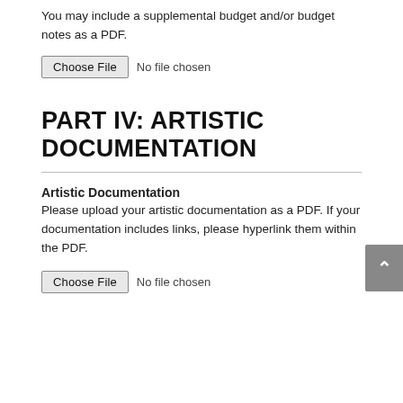You may include a supplemental budget and/or budget notes as a PDF.
[Figure (screenshot): File input control: 'Choose File' button followed by 'No file chosen' text]
PART IV: ARTISTIC DOCUMENTATION
Artistic Documentation
Please upload your artistic documentation as a PDF. If your documentation includes links, please hyperlink them within the PDF.
[Figure (screenshot): File input control: 'Choose File' button followed by 'No file chosen' text]